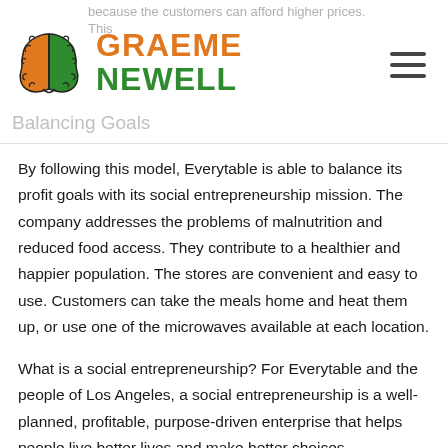because the customers can afford higher prices. This
[Figure (logo): Graeme Newell logo: split brain illustration (orange left half, green right half) with brand name GRAEME NEWELL in orange and green bold text]
Balancing Goals
By following this model, Everytable is able to balance its profit goals with its social entrepreneurship mission. The company addresses the problems of malnutrition and reduced food access. They contribute to a healthier and happier population. The stores are convenient and easy to use. Customers can take the meals home and heat them up, or use one of the microwaves available at each location.
What is a social entrepreneurship? For Everytable and the people of Los Angeles, a social entrepreneurship is a well-planned, profitable, purpose-driven enterprise that helps people live better lives and make better choices